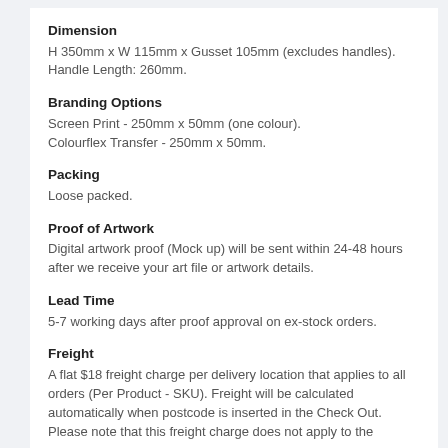Dimension
H 350mm x W 115mm x Gusset 105mm (excludes handles). Handle Length: 260mm.
Branding Options
Screen Print - 250mm x 50mm (one colour).
Colourflex Transfer - 250mm x 50mm.
Packing
Loose packed.
Proof of Artwork
Digital artwork proof (Mock up) will be sent within 24-48 hours after we receive your art file or artwork details.
Lead Time
5-7 working days after proof approval on ex-stock orders.
Freight
A flat $18 freight charge per delivery location that applies to all orders (Per Product - SKU). Freight will be calculated automatically when postcode is inserted in the Check Out. Please note that this freight charge does not apply to the